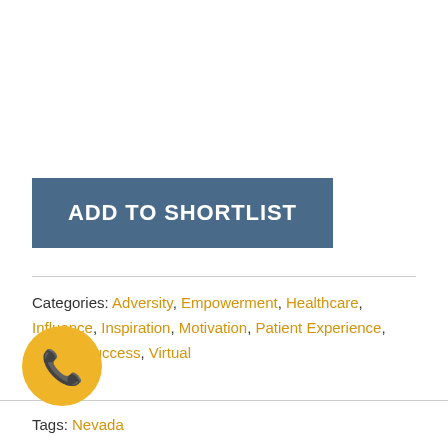ADD TO SHORTLIST
Categories: Adversity, Empowerment, Healthcare, Influence, Inspiration, Motivation, Patient Experience, Sports, Success, Virtual [Appea]rance
Tas[k]: Nevada
[Figure (illustration): Yellow circular phone/call button with white telephone handset icon]